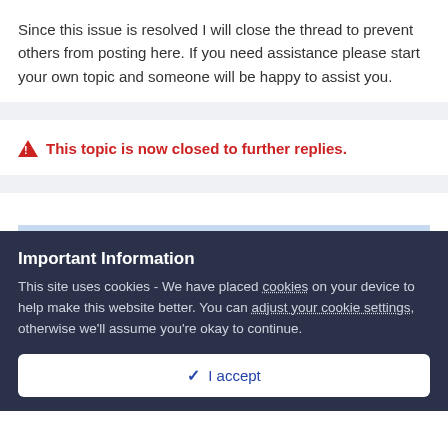Since this issue is resolved I will close the thread to prevent others from posting here. If you need assistance please start your own topic and someone will be happy to assist you.
This topic is now closed to further replies.
Important Information
This site uses cookies - We have placed cookies on your device to help make this website better. You can adjust your cookie settings, otherwise we'll assume you're okay to continue.
I accept